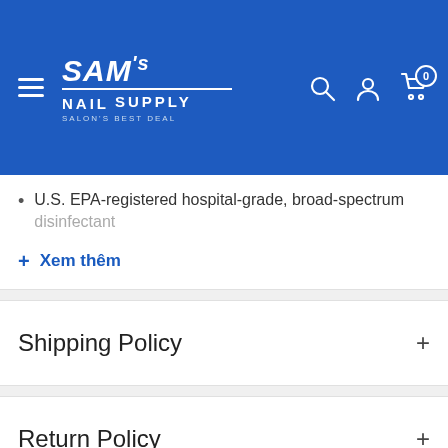[Figure (screenshot): SAM's NAIL SUPPLY website header with hamburger menu, logo, search icon, user icon, and cart icon with 0 badge on blue background]
U.S. EPA-registered hospital-grade, broad-spectrum disinfectant
+ Xem thêm
Shipping Policy
Return Policy
Reviews